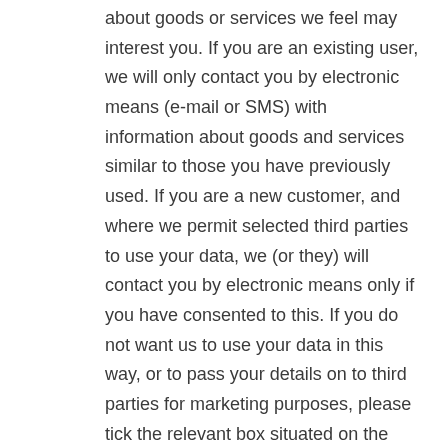about goods or services we feel may interest you. If you are an existing user, we will only contact you by electronic means (e-mail or SMS) with information about goods and services similar to those you have previously used. If you are a new customer, and where we permit selected third parties to use your data, we (or they) will contact you by electronic means only if you have consented to this. If you do not want us to use your data in this way, or to pass your details on to third parties for marketing purposes, please tick the relevant box situated on the form on which we collect your data;
to respond to inquiries, where in such circumstances, we may keep a record of